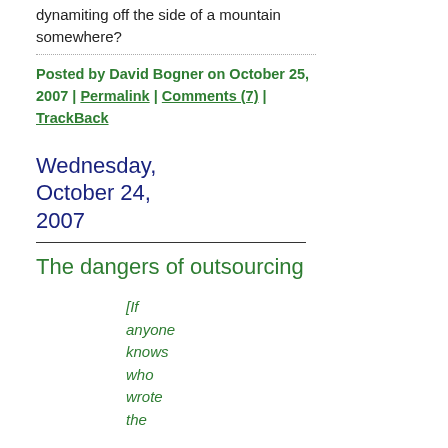dynamiting off the side of a mountain somewhere?
Posted by David Bogner on October 25, 2007 | Permalink | Comments (7) | TrackBack
Wednesday, October 24, 2007
The dangers of outsourcing
[If anyone knows who wrote the